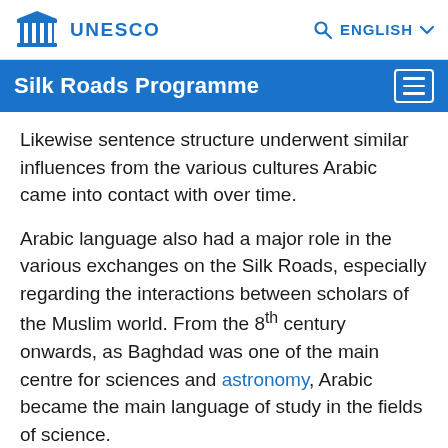UNESCO  ENGLISH
Silk Roads Programme
Likewise sentence structure underwent similar influences from the various cultures Arabic came into contact with over time.
Arabic language also had a major role in the various exchanges on the Silk Roads, especially regarding the interactions between scholars of the Muslim world. From the 8th century onwards, as Baghdad was one of the main centre for sciences and astronomy, Arabic became the main language of study in the fields of science.
Therefore, since Arabic language was at the heart of the scientific and cultural exchanges, these various interactions and cooperation in diverse domains